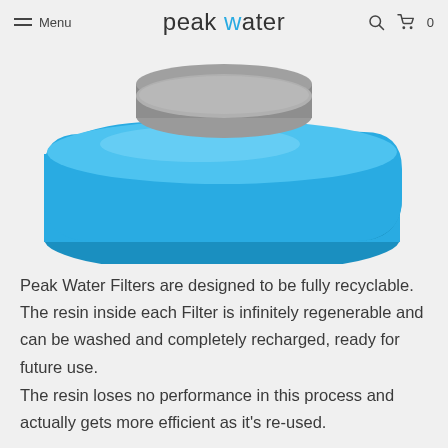Menu | peak water | 0
[Figure (photo): 3D render of a blue rounded disc/puck-shaped water filter component, with a grey top element partially visible. The blue puck has a smooth, glossy surface and sits on a light grey background.]
Peak Water Filters are designed to be fully recyclable. The resin inside each Filter is infinitely regenerable and can be washed and completely recharged, ready for future use.
The resin loses no performance in this process and actually gets more efficient as it's re-used.